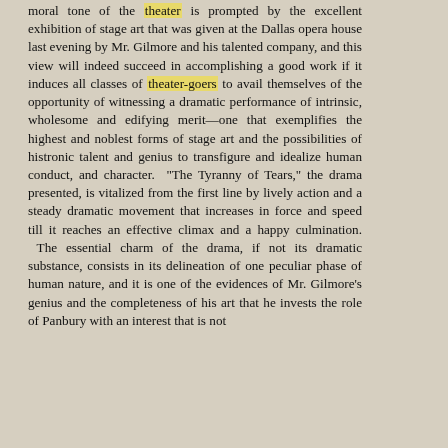moral tone of the theater is prompted by the excellent exhibition of stage art that was given at the Dallas opera house last evening by Mr. Gilmore and his talented company, and this view will indeed succeed in accomplishing a good work if it induces all classes of theater-goers to avail themselves of the opportunity of witnessing a dramatic performance of intrinsic, wholesome and edifying merit—one that exemplifies the highest and noblest forms of stage art and the possibilities of histronic talent and genius to transfigure and idealize human conduct, and character. "The Tyranny of Tears," the drama presented, is vitalized from the first line by lively action and a steady dramatic movement that increases in force and speed till it reaches an effective climax and a happy culmination. The essential charm of the drama, if not its dramatic substance, consists in its delineation of one peculiar phase of human nature, and it is one of the evidences of Mr. Gilmore's genius and the completeness of his art that he invests the role of Panbury with an interest that is not merely theatric in its effect, but su-